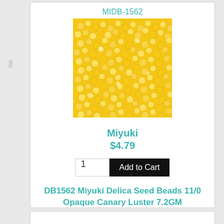MIDB-1562
[Figure (photo): Close-up photo of Miyuki Delica seed beads in opaque canary yellow luster finish]
Miyuki
$4.79
1  Add to Cart
DB1562 Miyuki Delica Seed Beads 11/0 Opaque Canary Luster 7.2GM
• Miyuki Delica Seed Beads - Japanese glass beads • Style: Size 11 0 Delica Beads, tubular shaped, tiny 1.6mm seed beads, primarily used for bead...